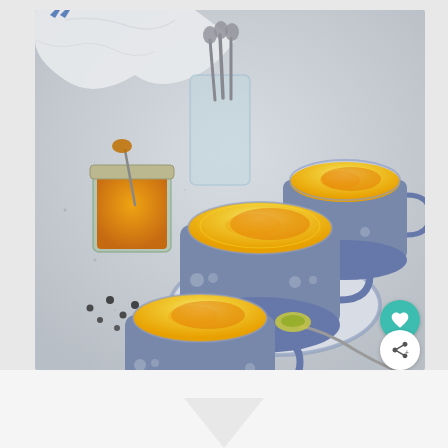[Figure (photo): Overhead food photography showing three blue ceramic mugs filled with golden turmeric milk (golden milk/latte), arranged on a light grey stone surface. One mug sits on a blue-rimmed plate with a spoon. A glass jar of orange turmeric powder with a small spoon is visible on the left. Teaspoons rest in a glass tumbler. A silver spoon with green powder lies on the surface. Black peppercorns are scattered around. Two social media interaction buttons (heart and share) are overlaid on the bottom-right of the image.]